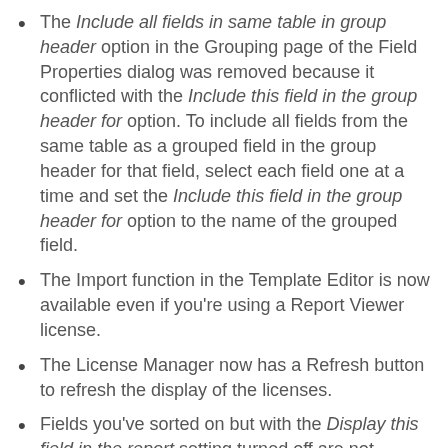The Include all fields in same table in group header option in the Grouping page of the Field Properties dialog was removed because it conflicted with the Include this field in the group header for option. To include all fields from the same table as a grouped field in the group header for that field, select each field one at a time and set the Include this field in the group header for option to the name of the grouped field.
The Import function in the Template Editor is now available even if you're using a Report Viewer license.
The License Manager now has a Refresh button to refresh the display of the licenses.
Fields you've sorted on but with the Display this field in the report setting turned off are not sorted. Otherwise, a summary report with a non-grouped, non-summed field that's sorted on would be sorted on a field that isn't visible in the report